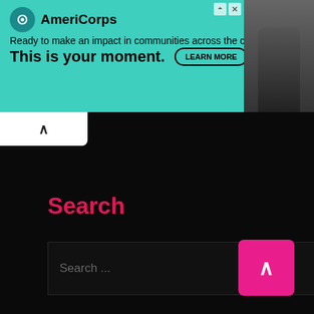[Figure (screenshot): AmeriCorps advertisement banner with teal background. Shows AmeriCorps logo, text 'Ready to make an impact in communities across the country? This is your moment.' with a LEARN MORE button, and a photo of a person on the right side.]
[Figure (screenshot): Website search page with black background. Shows a 'Search' heading in pink/red text, a dark search input box with placeholder 'Search ...' and a blue search button with magnifying glass icon. A pink back-to-top arrow button is in the bottom right.]